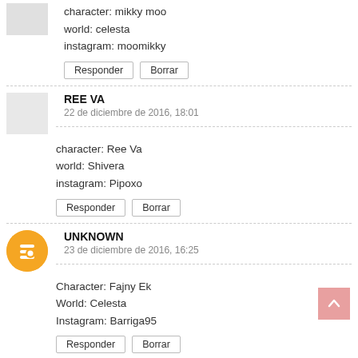character: mikky moo
world: celesta
instagram: moomikky
Responder | Borrar
REE VA
22 de diciembre de 2016, 18:01
character: Ree Va
world: Shivera
instagram: Pipoxo
Responder | Borrar
UNKNOWN
23 de diciembre de 2016, 16:25
Character: Fajny Ek
World: Celesta
Instagram: Barriga95
Responder | Borrar
UNKNOWN